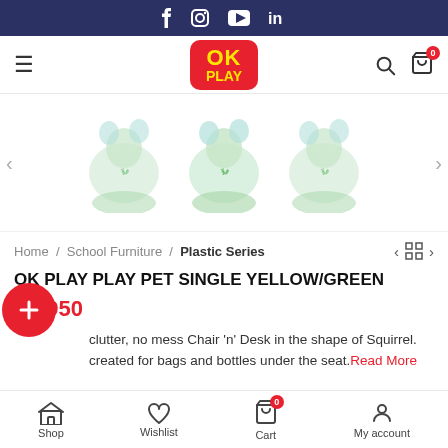Social media icons: Facebook, Instagram, YouTube, LinkedIn
[Figure (logo): OK PLAY logo - red rounded square with yellow bold text OK on top and PLAY below]
[Figure (photo): Product carousel showing three squirrel-shaped chair and desk sets for children, light green/yellow color, faded product images on white background]
Home / School Furniture / Plastic Series
OK PLAY PLAY PET SINGLE YELLOW/GREEN
₹5,950
clutter, no mess Chair 'n' Desk in the shape of Squirrel. created for bags and bottles under the seat. Read More
Shop | Wishlist | Cart | My account